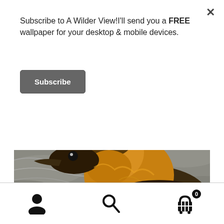Subscribe to A Wilder View!I'll send you a FREE wallpaper for your desktop & mobile devices.
Subscribe
[Figure (photo): Close-up photograph of a duckling swimming on water, with golden-brown fluffy feathers, dark beak, and rippling water in the background. Watermark 'LaMontagneArt.com' visible in bottom right corner.]
The reason for fewer paintings is no mystery.